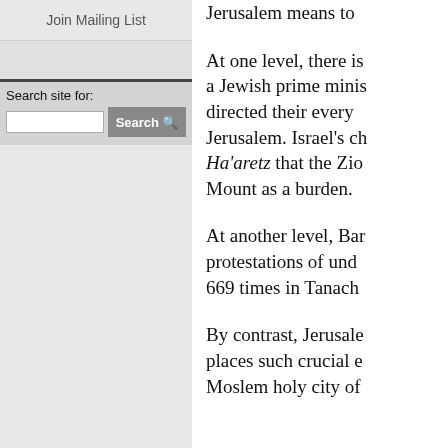Join Mailing List
Search site for:
Search
Jerusalem means to
At one level, there is a Jewish prime minis directed their every Jerusalem. Israel's ch Ha’aretz that the Zio Mount as a burden.
At another level, Bar protestations of und 669 times in Tanach
By contrast, Jerusale places such crucial e Moslem holy city of